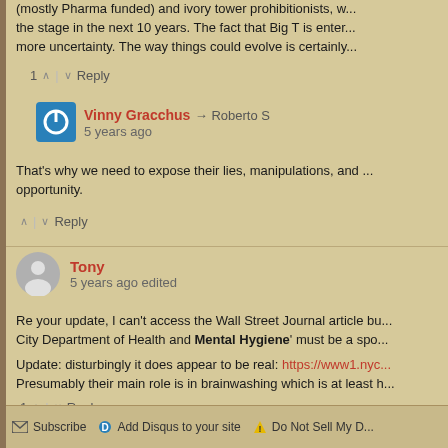(mostly Pharma funded) and ivory tower prohibitionists, w... the stage in the next 10 years. The fact that Big T is enter... more uncertainty. The way things could evolve is certainly...
1 ▲ | ▼ Reply
Vinny Gracchus → Roberto S
5 years ago
That's why we need to expose their lies, manipulations, and ... opportunity.
▲ | ▼ Reply
Tony
5 years ago edited
Re your update, I can't access the Wall Street Journal article bu... City Department of Health and Mental Hygiene' must be a spo...
Update: disturbingly it does appear to be real: https://www1.nyc... Presumably their main role is in brainwashing which is at least h...
1 ▲ | ▼ Reply
Subscribe   Add Disqus to your site   Do Not Sell My D...